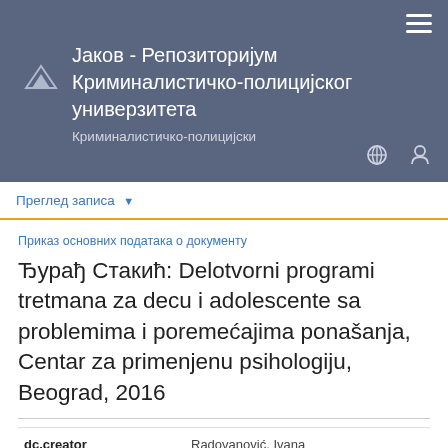Јаков - Репозиторијум Криминалистичко-полицијског универзитета
Криминалистичко-полицијски
Преглед записа
Приказ основних података о документу
Ђурађ Стакић: Delotvorni programi tretmana za decu i adolescente sa problemima i poremećajima ponašanja, Centar za primenjenu psihologiju, Beograd, 2016
| Field | Value |
| --- | --- |
| dc.creator | Radovanović, Ivana |
| dc.date.accessioned | 2019-03-21T16:12:25Z |